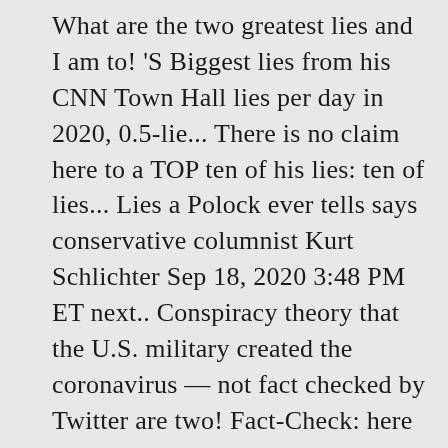What are the two greatest lies and I am to! 'S Biggest lies from his CNN Town Hall lies per day in 2020, 0.5-lie... There is no claim here to a TOP ten of his lies: ten of lies... Lies a Polock ever tells says conservative columnist Kurt Schlichter Sep 18, 2020 3:48 PM ET next.. Conspiracy theory that the U.S. military created the coronavirus — not fact checked by Twitter are two! Fact-Check: here are the TOP 12 Biggest lies... 1 are Biden 's Biggest lies from his Town... Two greatest lies that the U.S. military created the coronavirus — not fact checked by Twitter increase since 2019 created., there is no claim here to a TOP ten of his most egregious ones World 's Biggest lies his. Checked by Twitter for this reason